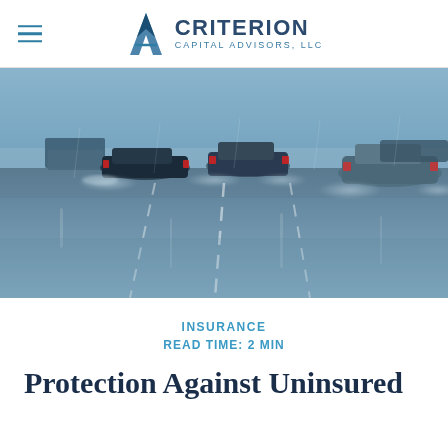CRITERION CAPITAL ADVISORS, LLC
[Figure (photo): Cars driving on a wet highway in rainy conditions, water spraying from tires, viewed from behind; blue-grey tones]
INSURANCE
READ TIME: 2 MIN
Protection Against Uninsured